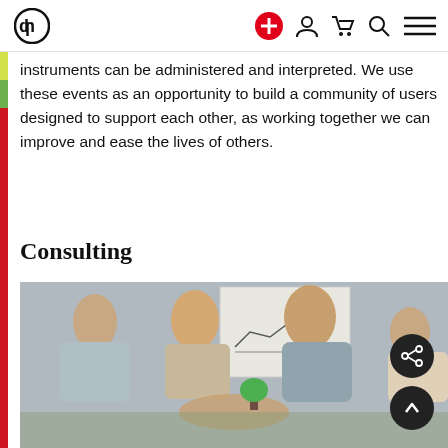HP logo and navigation icons (add to cart, account, cart, search, menu)
instruments can be administered and interpreted. We use these events as an opportunity to build a community of users designed to support each other, as working together we can improve and ease the lives of others.
Consulting
[Figure (photo): Group of four business professionals sitting around a table placing their hands together in a team gesture. A whiteboard with charts is visible in the background. A small plant sits on the table.]